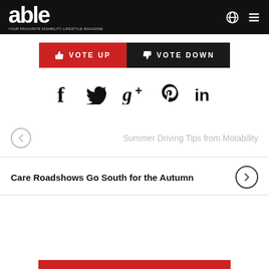able — YOUR FAVOURITE DISABILITY LIFESTYLE MAGAZINE
VOTE UP  VOTE DOWN
[Figure (infographic): Social media sharing icons: Facebook, Twitter, Google+, Pinterest, LinkedIn]
Summer Driving Tips from Motability
Care Roadshows Go South for the Autumn